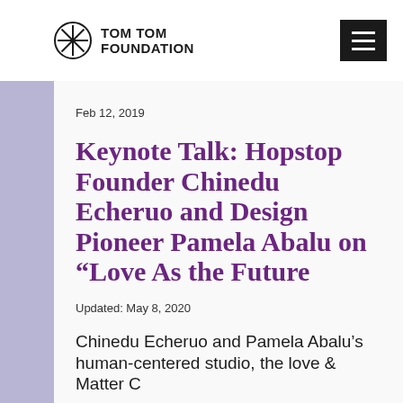TOM TOM FOUNDATION
Feb 12, 2019
Keynote Talk: Hopstop Founder Chinedu Echeruo and Design Pioneer Pamela Abalu on “Love As the Future
Updated: May 8, 2020
Chinedu Echeruo and Pamela Abalu’s human-centered studio, the love & Matter C...